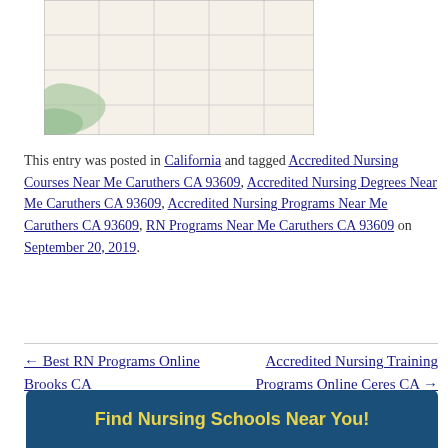[Figure (map): Street map showing Caruthers CA 93609 area with light beige grid streets and green shaded region in lower left]
This entry was posted in California and tagged Accredited Nursing Courses Near Me Caruthers CA 93609, Accredited Nursing Degrees Near Me Caruthers CA 93609, Accredited Nursing Programs Near Me Caruthers CA 93609, RN Programs Near Me Caruthers CA 93609 on September 20, 2019.
← Best RN Programs Online Brooks CA    Accredited Nursing Training Programs Online Ceres CA →
Find Nursing Schools Near You!